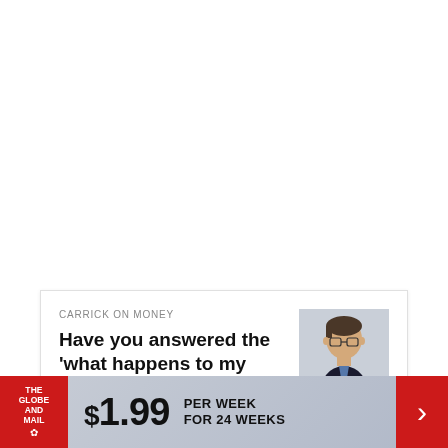CARRICK ON MONEY
Have you answered the 'what happens to my family if I die suddenly' question?
[Figure (photo): Headshot of a man with glasses and dark hair wearing a dark jacket]
$1.99 PER WEEK FOR 24 WEEKS
[Figure (logo): The Globe and Mail logo on a red background]